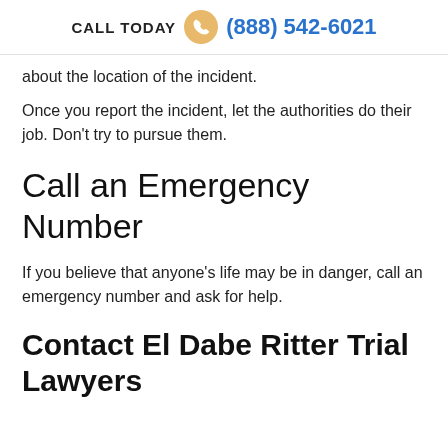CALL TODAY (888) 542-6021
about the location of the incident.
Once you report the incident, let the authorities do their job. Don’t try to pursue them.
Call an Emergency Number
If you believe that anyone’s life may be in danger, call an emergency number and ask for help.
Contact El Dabe Ritter Trial Lawyers